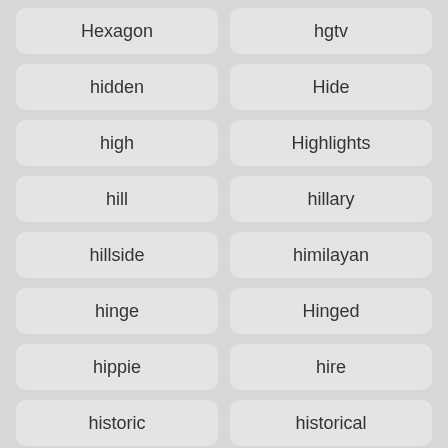Hexagon
hgtv
hidden
Hide
high
Highlights
hill
hillary
hillside
himilayan
hinge
Hinged
hippie
hire
historic
historical
history
hiuse
Hoax
hobbit